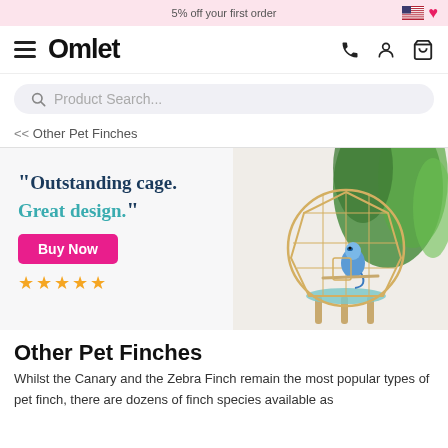5% off your first order
[Figure (logo): Omlet brand logo with hamburger menu and navigation icons (phone, user, basket)]
[Figure (screenshot): Product Search bar with magnifying glass icon]
<< Other Pet Finches
[Figure (photo): Hero banner with quote 'Outstanding cage. Great design.' and a Buy Now button with 5 star rating. Shows a gold geometric bird cage on a wooden stand with a blue budgie inside, surrounded by green tropical plants.]
Other Pet Finches
Whilst the Canary and the Zebra Finch remain the most popular types of pet finch, there are dozens of finch species available as